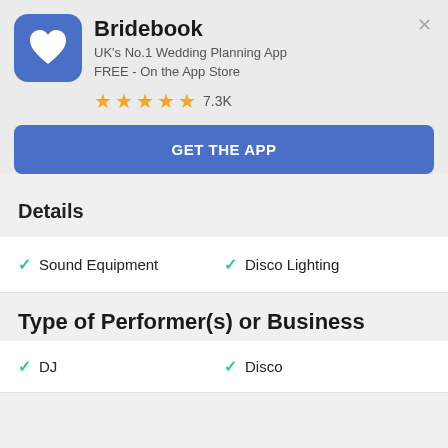Bridebook
UK's No.1 Wedding Planning App
FREE - On the App Store
★★★★★ 7.3K
GET THE APP
Details
Sound Equipment
Disco Lighting
Type of Performer(s) or Business
DJ
Disco